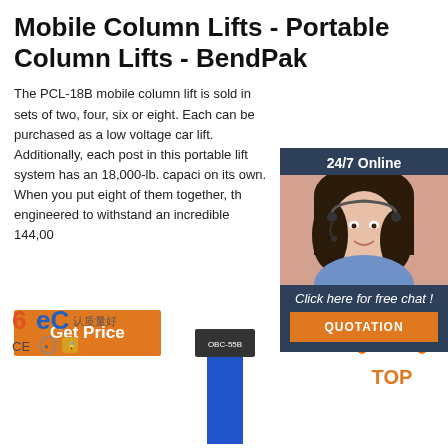Mobile Column Lifts - Portable Column Lifts - BendPak
The PCL-18B mobile column lift is sold in sets of two, four, six or eight. Each can be purchased as a low voltage car lift. Additionally, each post in this portable lift system has an 18,000-lb. capacity on its own. When you put eight of them together, they are engineered to withstand an incredible 144,000
[Figure (other): Orange 'Get Price' button]
[Figure (other): 24/7 Online chat widget with customer service representative photo, 'Click here for free chat!' text, and orange QUOTATION button]
[Figure (logo): 6eC certification logos with CE mark]
[Figure (photo): Blue OBC-55B product lift column]
[Figure (other): Orange TOP navigation button]